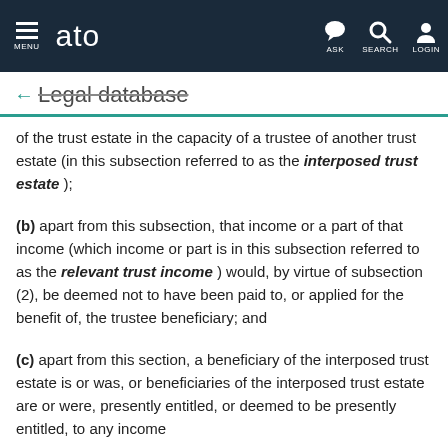MENU | ato | ASK | SEARCH | LOGIN
← Legal database
of the trust estate in the capacity of a trustee of another trust estate (in this subsection referred to as the interposed trust estate );
(b) apart from this subsection, that income or a part of that income (which income or part is in this subsection referred to as the relevant trust income ) would, by virtue of subsection (2), be deemed not to have been paid to, or applied for the benefit of, the trustee beneficiary; and
(c) apart from this section, a beneficiary of the interposed trust estate is or was, or beneficiaries of the interposed trust estate are or were, presently entitled, or deemed to be presently entitled, to any income